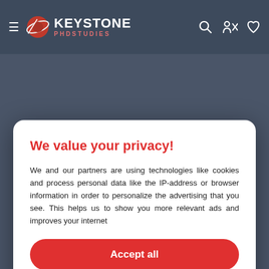[Figure (logo): Keystone PhD Studies logo with hamburger menu, globe/orbit icon, and navigation icons (search, profile, heart) on dark blue-gray navbar]
We value your privacy!
We and our partners are using technologies like cookies and process personal data like the IP-address or browser information in order to personalize the advertising that you see. This helps us to show you more relevant ads and improves your internet
Accept all
Settings
Cookies | Privacy notice | T&C
iktor filozofije stepena, kratko je di napredna titula osvojenih zlichitim oblastima, oznachavajući glavne interese i